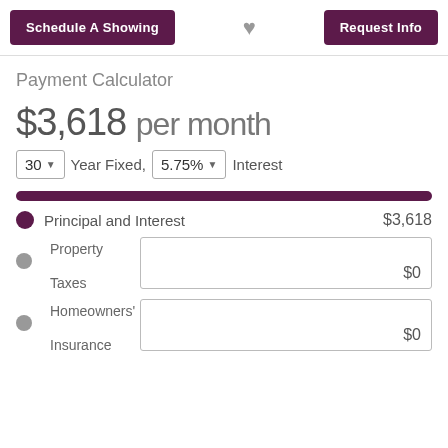Schedule A Showing | [heart] | Request Info
Payment Calculator
$3,618 per month
30 Year Fixed, 5.75% Interest
Principal and Interest $3,618
Property Taxes $0
Homeowners' Insurance $0